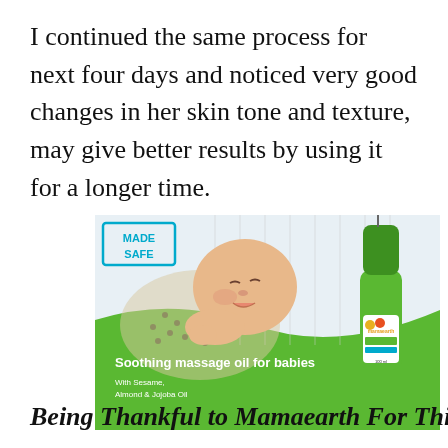I continued the same process for next four days and noticed very good changes in her skin tone and texture, may give better results by using it for a longer time.
[Figure (photo): Advertisement image for Mamaearth Soothing massage oil for babies. Shows a smiling newborn baby lying on a spotted pillow with a green bottle of massage oil. Text reads: MADE SAFE, Soothing massage oil for babies, With Sesame, Almond & Jojoba Oil.]
Being Thankful to Mamaearth For This Major